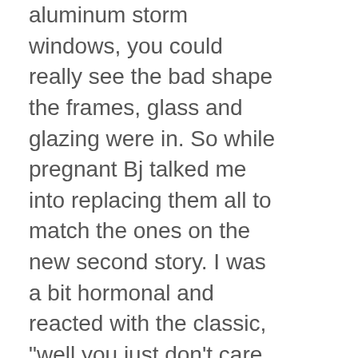aluminum storm windows, you could really see the bad shape the frames, glass and glazing were in. So while pregnant Bj talked me into replacing them all to match the ones on the new second story. I was a bit hormonal and reacted with the classic, "well you just don't care how hard I work on things do you?" crying fit. Once I came to my senses and Bj explained that the the frames would not have to be messed with and